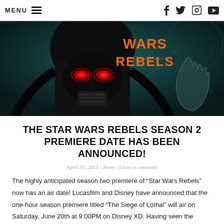MENU  [hamburger icon]  [facebook] [twitter] [instagram] [youtube]
[Figure (illustration): Star Wars Rebels promotional image featuring Darth Vader with glowing red eyes in the foreground and the orange 'WARS REBELS' text logo visible, with a ghostly hand in the background on a teal/dark backdrop.]
THE STAR WARS REBELS SEASON 2 PREMIERE DATE HAS BEEN ANNOUNCED!
April 30, 2015 / News / Leave a comment
The highly anticipated season two premiere of “Star Wars Rebels” now has an air date! Lucasfilm and Disney have announced that the one-hour season premiere titled “The Siege of Lothal” will air on Saturday, June 20th at 9:00PM on Disney XD. Having seen the season 2 premiere at Celebration